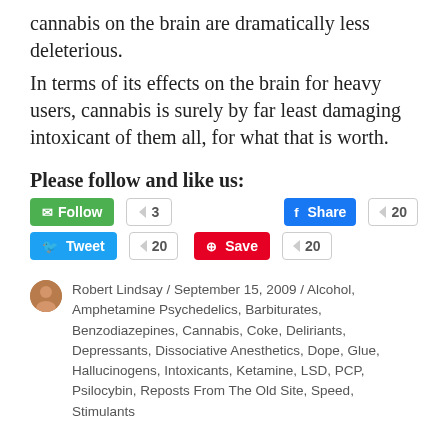cannabis on the brain are dramatically less deleterious.
In terms of its effects on the brain for heavy users, cannabis is surely by far least damaging intoxicant of them all, for what that is worth.
Please follow and like us:
[Figure (other): Social media buttons: Follow (3), Share (20), Tweet (20), Save (20)]
Robert Lindsay / September 15, 2009 / Alcohol, Amphetamine Psychedelics, Barbiturates, Benzodiazepines, Cannabis, Coke, Deliriants, Depressants, Dissociative Anesthetics, Dope, Glue, Hallucinogens, Intoxicants, Ketamine, LSD, PCP, Psilocybin, Reposts From The Old Site, Speed, Stimulants